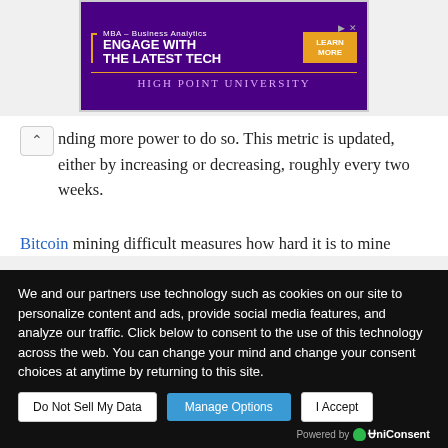[Figure (other): Advertisement banner for High Point University MBA in Business Analytics with text 'MBA – Business Analytics ENGAGE WITH THE LATEST TECH' and 'LEARN MORE' button]
nding more power to do so. This metric is updated, either by increasing or decreasing, roughly every two weeks.
Bitcoin mining difficult measures how hard it is to mine
We and our partners use technology such as cookies on our site to personalize content and ads, provide social media features, and analyze our traffic. Click below to consent to the use of this technology across the web. You can change your mind and change your consent choices at anytime by returning to this site.
it would appear that more miners have nonetheless